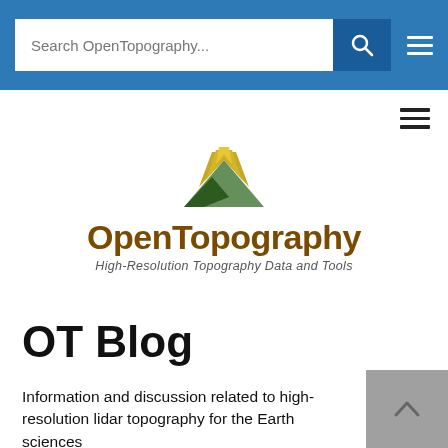Search OpenTopography...
[Figure (logo): OpenTopography logo: yellow-green mountain peak graphic above the text 'OpenTopography' in brown bold font with tagline 'High-Resolution Topography Data and Tools']
OT Blog
Information and discussion related to high-resolution lidar topography for the Earth sciences